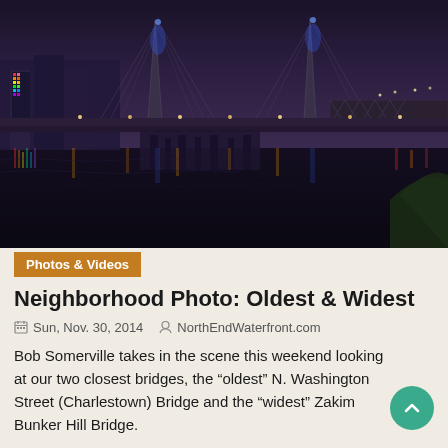[Figure (photo): Nighttime photo of two Boston bridges — the N. Washington Street (Charlestown) Bridge and the Zakim Bunker Hill Bridge — reflected in the water below, with colorful city lights.]
Photos & Videos
Neighborhood Photo: Oldest & Widest
Sun, Nov. 30, 2014   NorthEndWaterfront.com
Bob Somerville takes in the scene this weekend looking at our two closest bridges, the “oldest” N. Washington Street (Charlestown) Bridge and the “widest” Zakim Bunker Hill Bridge.